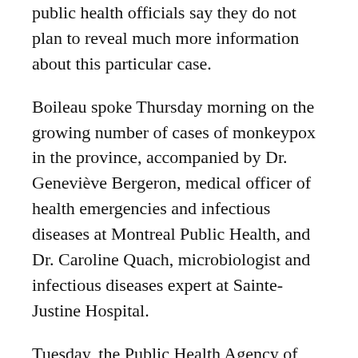public health officials say they do not plan to reveal much more information about this particular case.
Boileau spoke Thursday morning on the growing number of cases of monkeypox in the province, accompanied by Dr. Geneviève Bergeron, medical officer of health emergencies and infectious diseases at Montreal Public Health, and Dr. Caroline Quach, microbiologist and infectious diseases expert at Sainte-Justine Hospital.
Tuesday, the Public Health Agency of Canada (PHAC) delivered a small amount of the Imvamune vaccine to Quebec from Canada's National Emergency Strategic Stockpile (NESS)